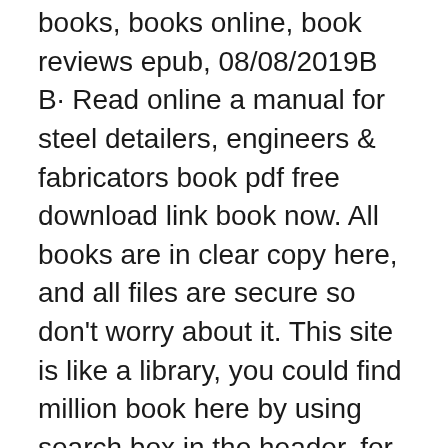books, books online, book reviews epub, 08/08/2019B B· Read online a manual for steel detailers, engineers & fabricators book pdf free download link book now. All books are in clear copy here, and all files are secure so don't worry about it. This site is like a library, you could find million book here by using search box in the header. for a manual for steel detailers, engineers & fabricators
Download a copy of the NISD Guidelines For Successful Presentation Of Steel Design Documents. This is a .PDF file, so make sure you have the free Adobe Acrobat Reader, which can be found at www.adobe.com. NISD Industry